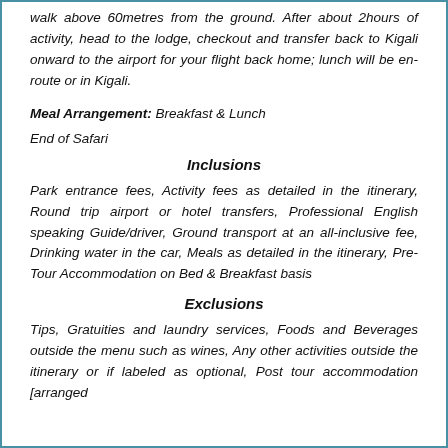walk above 60metres from the ground. After about 2hours of activity, head to the lodge, checkout and transfer back to Kigali onward to the airport for your flight back home; lunch will be en-route or in Kigali.
Meal Arrangement: Breakfast & Lunch
End of Safari
Inclusions
Park entrance fees, Activity fees as detailed in the itinerary, Round trip airport or hotel transfers, Professional English speaking Guide/driver, Ground transport at an all-inclusive fee, Drinking water in the car, Meals as detailed in the itinerary, Pre- Tour Accommodation on Bed & Breakfast basis
Exclusions
Tips, Gratuities and laundry services, Foods and Beverages outside the menu such as wines, Any other activities outside the itinerary or if labeled as optional, Post tour accommodation [arranged separately], International Airline tickets [and